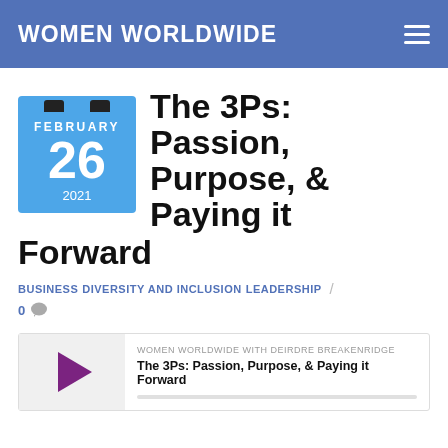WOMEN WORLDWIDE
The 3Ps: Passion, Purpose, & Paying it Forward
FEBRUARY 26 2021
BUSINESS  DIVERSITY AND INCLUSION  LEADERSHIP
0 comments
WOMEN WORLDWIDE WITH DEIRDRE BREAKENRIDGE
The 3Ps: Passion, Purpose, & Paying it Forward